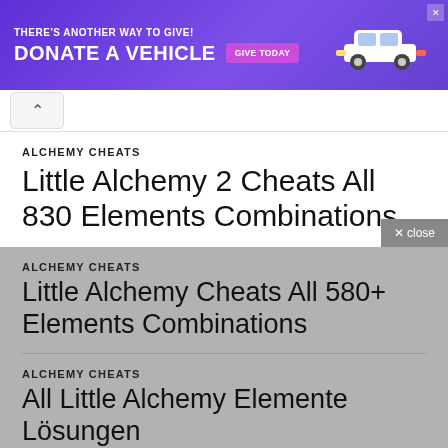[Figure (screenshot): Purple advertisement banner: THERE'S ANOTHER WAY TO GIVE! DONATE A VEHICLE GIVE TODAY with a white car illustration]
ALCHEMY CHEATS
Little Alchemy 2 Cheats All 830 Elements Combinations
ALCHEMY CHEATS
Little Alchemy Cheats All 580+ Elements Combinations
ALCHEMY CHEATS
All Little Alchemy Elemente Lösungen
[Figure (photo): Partial photo of a person's head/face against a warm golden-brown background]